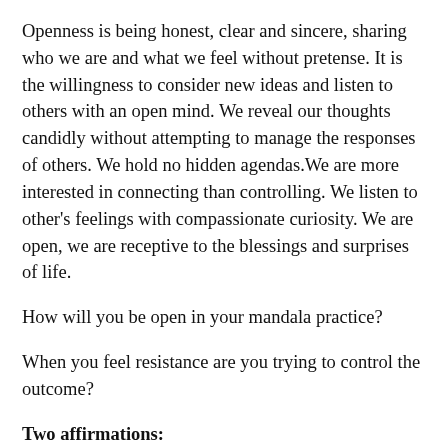Openness is being honest, clear and sincere, sharing who we are and what we feel without pretense. It is the willingness to consider new ideas and listen to others with an open mind. We reveal our thoughts candidly without attempting to manage the responses of others. We hold no hidden agendas.We are more interested in connecting than controlling. We listen to other's feelings with compassionate curiosity. We are open, we are receptive to the blessings and surprises of life.
How will you be open in your mandala practice?
When you feel resistance are you trying to control the outcome?
Two affirmations: